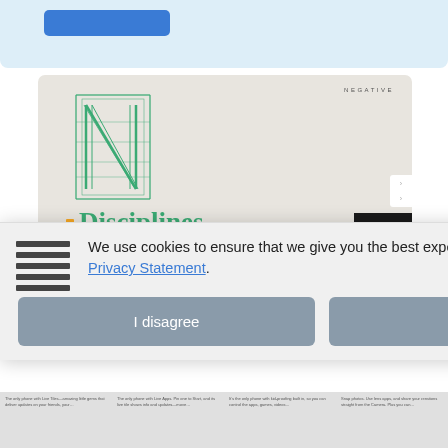[Figure (screenshot): Top area with blue background and blue button]
[Figure (screenshot): Website screenshot showing 'Negative' agency site with N logo, Disciplines heading in green, and column text for Branding, Development, Design, Art Direction]
We use cookies to ensure that we give you the best experience on our website. Privacy Statement.
I disagree
I agree
[Figure (screenshot): Bottom strip with small phone advertisement text columns]
a roll
SkyDrive